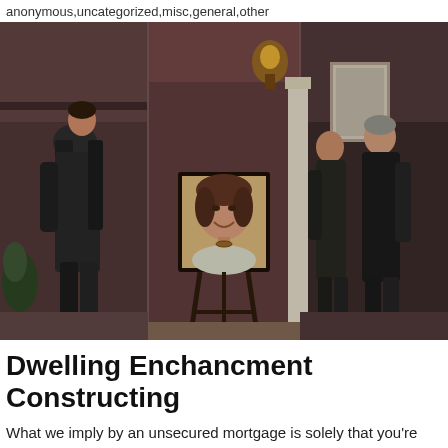anonymous,uncategorized,misc,general,other
[Figure (photo): A scene from a TV show or film showing three people in an interior setting. On the left, a man in a dark suit stands with his back partially turned. In the center, a smiling woman with dark hair is shown (possibly as a framed portrait on a stand). On the right, two men in dark suits face each other talking. The setting appears to be a formal interior with warm lighting.]
Dwelling Enchancment Constructing
What we imply by an unsecured mortgage is solely that you're borrowing money based mostly in your creditworthiness,